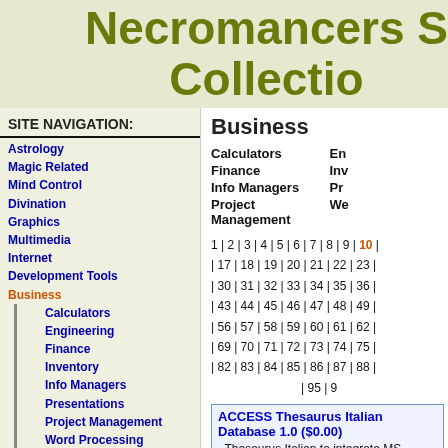Necromancers S Collection
SITE NAVIGATION:
Astrology
Magic Related
Mind Control
Divination
Graphics
Multimedia
Internet
Development Tools
Business
Calculators
Engineering
Finance
Inventory
Info Managers
Presentations
Project Management
Word Processing
Antivirus
Games
Miscelaneous
Utilities
Screensavers
Educational Tools
Business
Calculators   En
Finance   Inv
Info Managers   Pr
Project Management   We
1 | 2 | 3 | 4 | 5 | 6 | 7 | 8 | 9 | 10 | 17 | 18 | 19 | 20 | 21 | 22 | 23 | 30 | 31 | 32 | 33 | 34 | 35 | 36 | 43 | 44 | 45 | 46 | 47 | 48 | 49 | 56 | 57 | 58 | 59 | 60 | 61 | 62 | 69 | 70 | 71 | 72 | 73 | 74 | 75 | 82 | 83 | 84 | 85 | 86 | 87 | 88 | 95 | 9
ACCESS Thesaurus Italian Database 1.0 ($0.00)
Thesaurus Italian to integrate MS-ACCESS Format. The dem letter "T" with 856 Keywords. Fu Italian 25609 keywords with ove PC, Palm, PPC, WM, PDA, WM